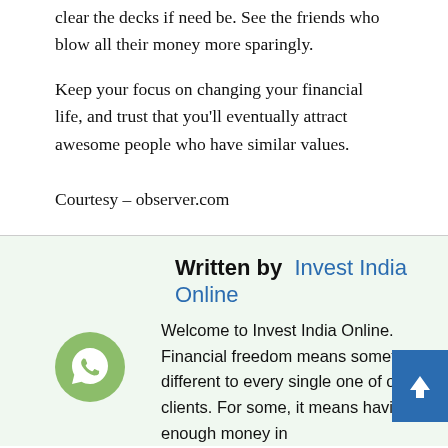clear the decks if need be. See the friends who blow all their money more sparingly.
Keep your focus on changing your financial life, and trust that you'll eventually attract awesome people who have similar values.
Courtesy – observer.com
Written by  Invest India Online
Welcome to Invest India Online. Financial freedom means something different to every single one of our clients. For some, it means having enough money in